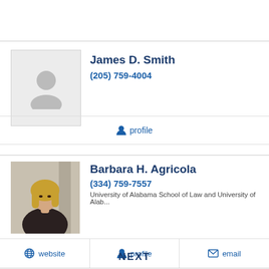[Figure (photo): Default avatar silhouette placeholder image for James D. Smith]
James D. Smith
(205) 759-4004
profile
[Figure (photo): Photo of Barbara H. Agricola, a woman with blonde hair in a dark jacket]
Barbara H. Agricola
(334) 759-7557
University of Alabama School of Law and University of Alab...
website
profile
email
NEXT